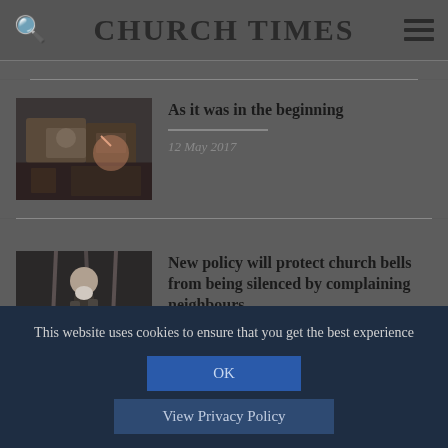CHURCH TIMES
As it was in the beginning
12 May 2017
New policy will protect church bells from being silenced by complaining neighbours
This website uses cookies to ensure that you get the best experience
OK
View Privacy Policy